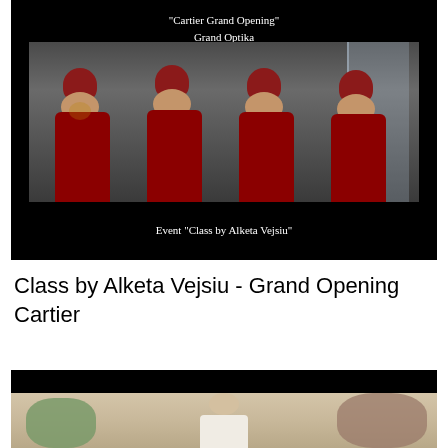[Figure (photo): Black background image with text 'Cartier Grand Opening / Grand Optika' at top and 'Event "Class by Alketa Vejsiu"' at bottom, featuring a photograph of four women wearing red dresses and red head wraps/turbans, sitting together wearing sunglasses.]
Class by Alketa Vejsiu - Grand Opening Cartier
[Figure (photo): Partially visible photo on black background showing a woman in a white dress at what appears to be a decorated event venue with flowers and white draping.]